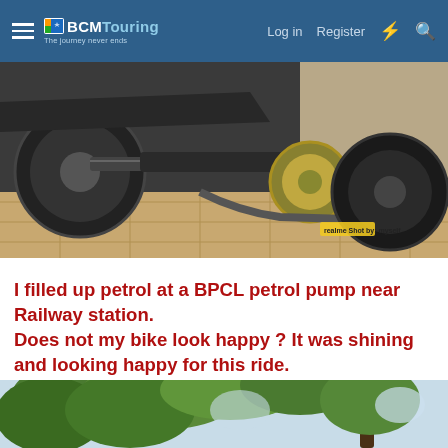BCMTouring — Log in  Register
[Figure (photo): Close-up photo of a motorcycle near a petrol pump, showing the rear wheel, chain, and engine area on a brick-paved surface. A small yellow realme watermark is visible in the lower right.]
I filled up petrol at a BPCL petrol pump near Railway station.
Does not my bike look happy ? It was shining and looking happy for this ride.
[Figure (photo): Partial photo showing tree branches with green leaves against a light blue sky, partially cut off at the bottom of the page.]